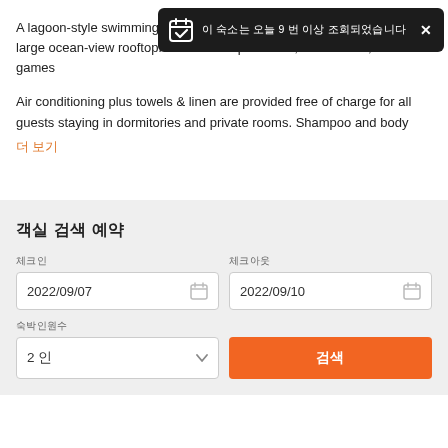A lagoon-style swimming pool and bar & restaurant is set upon our large ocean-view rooftop. As well as a pool table, tennis table, board games
[Figure (screenshot): Dark toast notification bar with calendar checkmark icon and Korean text, with X close button]
Air conditioning plus towels & linen are provided free of charge for all guests staying in dormitories and private rooms. Shampoo and body
더 보기
객실 검색 예약
체크인
2022/09/07
체크아웃
2022/09/10
숙박인원수
2 인
검색